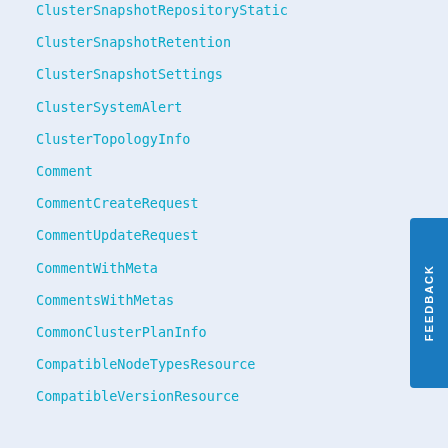ClusterSnapshotRepositoryStatic
ClusterSnapshotRetention
ClusterSnapshotSettings
ClusterSystemAlert
ClusterTopologyInfo
Comment
CommentCreateRequest
CommentUpdateRequest
CommentWithMeta
CommentsWithMetas
CommonClusterPlanInfo
CompatibleNodeTypesResource
CompatibleVersionResource